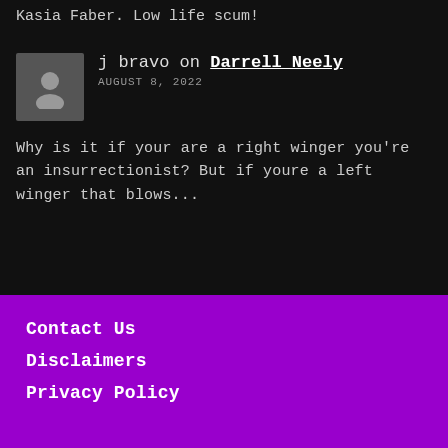Kasia Faber. Low life scum!
j bravo on Darrell Neely
AUGUST 8, 2022
Why is it if your are a right winger you're an insurrectionist? But if youre a left winger that blows...
Contact Us
Disclaimers
Privacy Policy